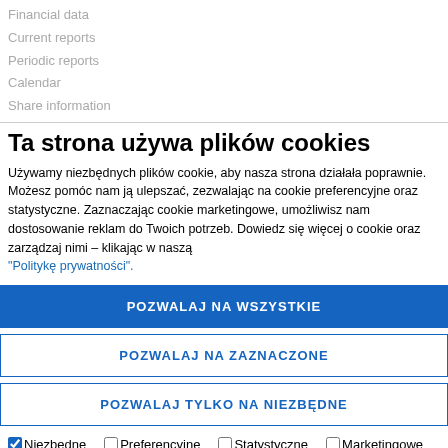Financial data
Current reports
Periodic reports
Calendar
Share information
Ta strona używa plików cookies
Używamy niezbędnych plików cookie, aby nasza strona działała poprawnie. Możesz pomóc nam ją ulepszać, zezwalając na cookie preferencyjne oraz statystyczne. Zaznaczając cookie marketingowe, umożliwisz nam dostosowanie reklam do Twoich potrzeb. Dowiedz się więcej o cookie oraz zarządzaj nimi – klikając w naszą
"Politykę prywatności".
POZWALAJ NA WSZYSTKIE
POZWALAJ NA ZAZNACZONE
POZWALAJ TYLKO NA NIEZBĘDNE
Niezbędne   Preferencyjne   Statystyczne   Marketingowe